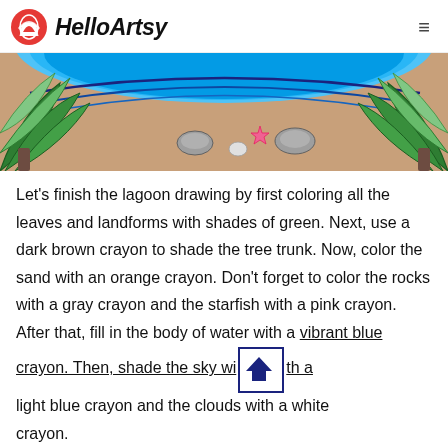HelloArtsy
[Figure (illustration): Colored crayon drawing of a tropical lagoon scene showing blue water at top, sandy beach with rocks and a pink starfish, and green tropical leaves/plants on the sides]
Let's finish the lagoon drawing by first coloring all the leaves and landforms with shades of green. Next, use a dark brown crayon to shade the tree trunk. Now, color the sand with an orange crayon. Don't forget to color the rocks with a gray crayon and the starfish with a pink crayon. After that, fill in the body of water with a vibrant blue crayon. Then, shade the sky with a light blue crayon and the clouds with a white crayon.